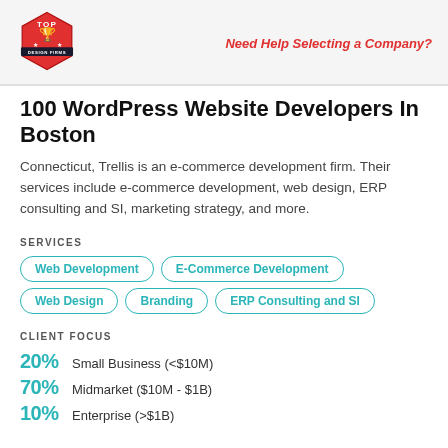Top Design Firms | Need Help Selecting a Company?
100 WordPress Website Developers In Boston
Connecticut, Trellis is an e-commerce development firm. Their services include e-commerce development, web design, ERP consulting and SI, marketing strategy, and more.
SERVICES
Web Development
E-Commerce Development
Web Design
Branding
ERP Consulting and SI
CLIENT FOCUS
20% Small Business (<$10M)
70% Midmarket ($10M - $1B)
10% Enterprise (>$1B)